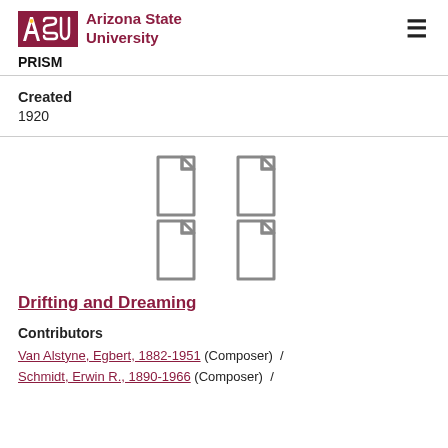ASU Arizona State University | PRISM
Created
1920
[Figure (illustration): Four document/file icons arranged in a 2x2 grid, shown in gray outline style]
Drifting and Dreaming
Contributors
Van Alstyne, Egbert, 1882-1951 (Composer) / Schmidt, Erwin R., 1890-1966 (Composer) /